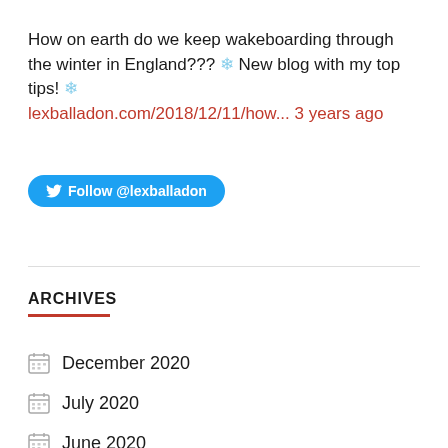How on earth do we keep wakeboarding through the winter in England??? ❄ New blog with my top tips! ❄ lexballadon.com/2018/12/11/how... 3 years ago
[Figure (other): Twitter Follow @lexballadon button (blue rounded pill button with Twitter bird icon)]
ARCHIVES
December 2020
July 2020
June 2020